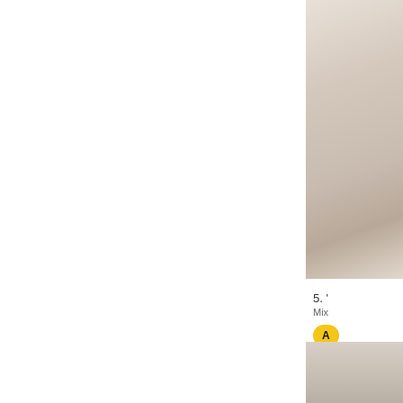[Figure (photo): Product photo - light colored item on beige/cream background, top right portion of page]
5. '
Mix
[Figure (other): Yellow rounded Add to cart button with label 'A']
[Figure (photo): Second product photo at bottom right of page, light gray/beige tones]